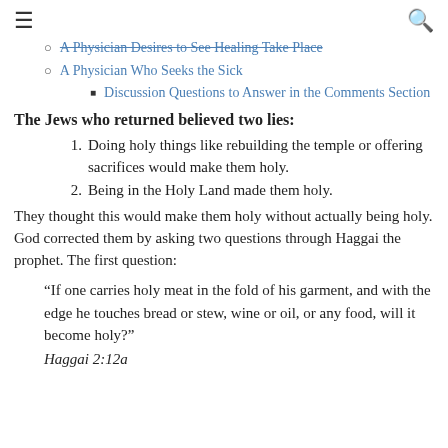A Physician Desires to See Healing Take Place
A Physician Who Seeks the Sick
Discussion Questions to Answer in the Comments Section
The Jews who returned believed two lies:
Doing holy things like rebuilding the temple or offering sacrifices would make them holy.
Being in the Holy Land made them holy.
They thought this would make them holy without actually being holy. God corrected them by asking two questions through Haggai the prophet.  The first question:
“If one carries holy meat in the fold of his garment, and with the edge he touches bread or stew, wine or oil, or any food, will it become holy?”
Haggai 2:12a